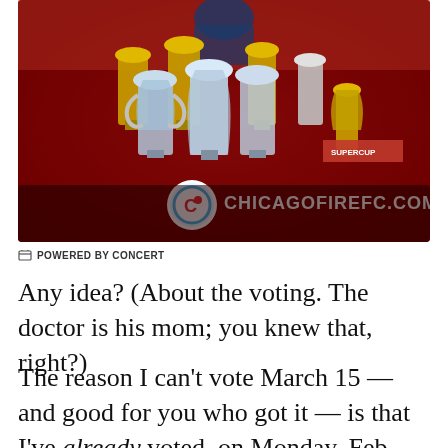[Figure (photo): Chicago Fire FC promotional image showing a soccer player holding multiple trophies, with CHICAGOFIREFC.COM text overlay and the Chicago Fire FC logo]
POWERED BY CONCERT
Any idea? (About the voting. The doctor is his mom; you knew that, right?)
The reason I can't vote March 15 — and good for you who got it — is that I've already voted, on Monday, Feb. 29, at the start of early voting. First time. I'm a